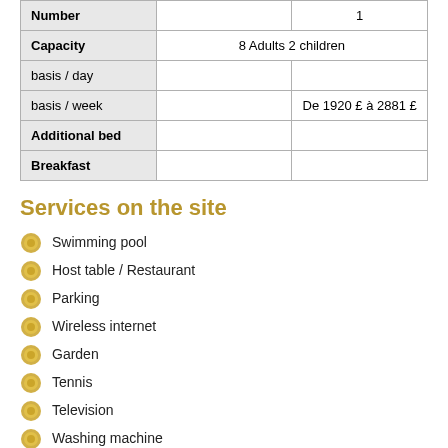|  |  |  |
| --- | --- | --- |
| Number |  | 1 |
| Capacity | 8 Adults 2 children |  |
| basis / day |  |  |
| basis / week |  | De 1920 £ à 2881 £ |
| Additional bed |  |  |
| Breakfast |  |  |
Services on the site
Swimming pool
Host table / Restaurant
Parking
Wireless internet
Garden
Tennis
Television
Washing machine
Baby bed
Barbecue
Diswasher
Dvd